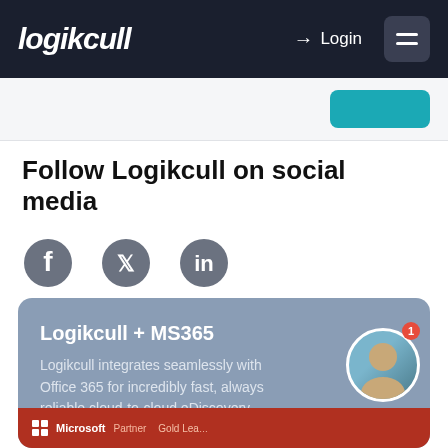logikcull  Login
Follow Logikcull on social media
[Figure (illustration): Social media icons: Facebook, Twitter, LinkedIn]
Logikcull + MS365
Logikcull integrates seamlessly with Office 365 for incredibly fast, always reliable cloud-to-cloud eDiscovery.
[Figure (logo): Microsoft Partner Gold Learning badge with red background strip]